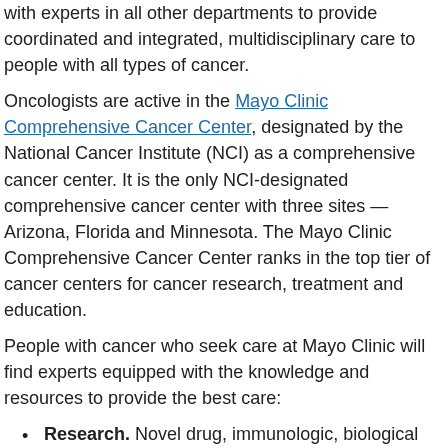with experts in all other departments to provide coordinated and integrated, multidisciplinary care to people with all types of cancer.
Oncologists are active in the Mayo Clinic Comprehensive Cancer Center, designated by the National Cancer Institute (NCI) as a comprehensive cancer center. It is the only NCI-designated comprehensive cancer center with three sites — Arizona, Florida and Minnesota. The Mayo Clinic Comprehensive Cancer Center ranks in the top tier of cancer centers for cancer research, treatment and education.
People with cancer who seek care at Mayo Clinic will find experts equipped with the knowledge and resources to provide the best care:
Research. Novel drug, immunologic, biological targeted therapies and gene therapies are being studied intensively within the department to determine their potential for cancer treatment.
This clinical expertise aligns strongly with the research programs of the Mayo Clinic Comprehensive Cancer Center. The close connection between clinical care and